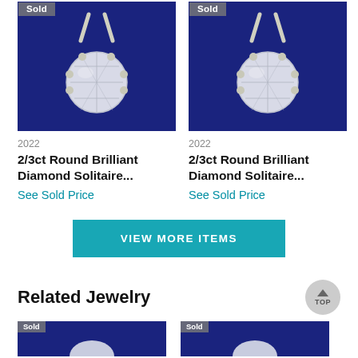[Figure (photo): Diamond solitaire pendant on blue velvet background with 'Sold' badge, left item]
2022
2/3ct Round Brilliant Diamond Solitaire...
See Sold Price
[Figure (photo): Diamond solitaire pendant on blue velvet background with 'Sold' badge, right item]
2022
2/3ct Round Brilliant Diamond Solitaire...
See Sold Price
VIEW MORE ITEMS
Related Jewelry
[Figure (photo): Partial bottom image of jewelry item on blue background, left]
[Figure (photo): Partial bottom image of jewelry item on blue background, right]